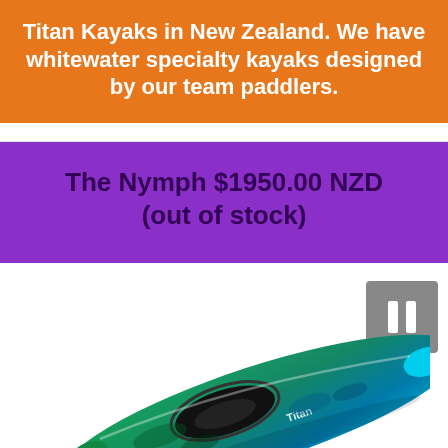Titan Kayaks in New Zealand. We have whitewater specialty kayaks designed by our team paddlers.
The Nymph $1950.00 NZD (out of stock)
[Figure (photo): A green and blue whitewater kayak (The Nymph by Titan Kayaks) shown from a top-angled view on white background, with a grey pause button in the upper right corner.]
Follow ...